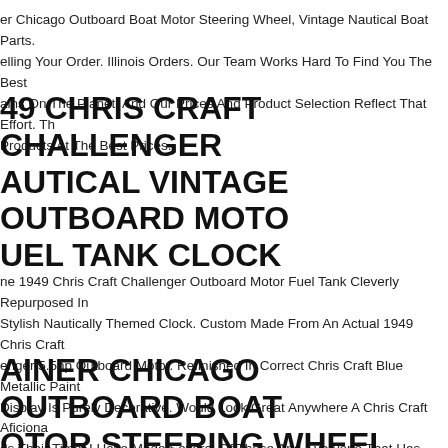er Chicago Outboard Boat Motor Steering Wheel, Vintage Nautical Boat Parts. elling Your Order. Illinois Orders. Our Team Works Hard To Find You The Best ains On The Planet, And Our Prices And Product Selection Reflect That Effort. Th Products At The Best Prices.
49 CHRIS CRAFT CHALLENGER AUTICAL VINTAGE OUTBOARD MOTOR UEL TANK CLOCK
ne 1949 Chris Craft Challenger Outboard Motor Fuel Tank Cleverly Repurposed In Stylish Nautically Themed Clock. Custom Made From An Actual 1949 Chris Craft enger 5.5hp Outboard Motor. Refinished In Correct Chris Craft Blue Metallic Paint Display Is Purely Decorative. Would Look Great Anywhere A Chris Craft Aficiona ds Their Time. I Have Made Several Of These And Everyone That Has Purchased n Has Expressed How Much They Love Them. ) Several Other Models Also Availa
AINER CHICAGO OUTBOARD BOAT OTOR STEERING WHEEL, VINTAGE AUTICAL BOAT PARTS